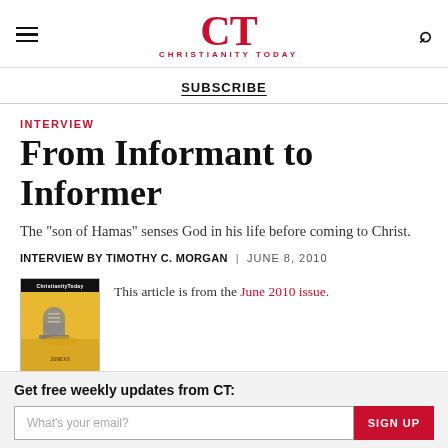CT — CHRISTIANITY TODAY
SUBSCRIBE
INTERVIEW
From Informant to Informer
The "son of Hamas" senses God in his life before coming to Christ.
INTERVIEW BY TIMOTHY C. MORGAN | JUNE 8, 2010
This article is from the June 2010 issue.
[Figure (photo): Thumbnail cover of Christianity Today June 2010 issue, showing a gravestone on a sandy/beige background]
Get free weekly updates from CT:
What's your email?
SIGN UP